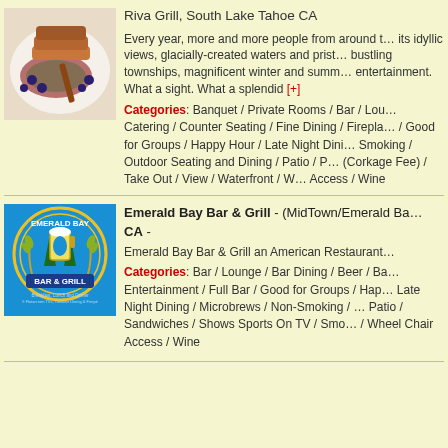[Figure (photo): Food photo showing a plated dish with meat and blueberries on a white plate]
Riva Grill, South Lake Tahoe CA

Every year, more and more people from around the world come to Lake Tahoe for its idyllic views, glacially-created waters and pristine natural beauty, as well as its bustling townships, magnificent winter and summer sports and world-class entertainment. What a sight. What a splendid [+]
Categories: Banquet / Private Rooms / Bar / Lounge / Catering / Counter Seating / Fine Dining / Fireplace / Good for Groups / Happy Hour / Late Night Dining / Non-Smoking / Outdoor Seating and Dining / Patio / Private Wine (Corkage Fee) / Take Out / View / Waterfront / Wheel Chair Access / Wine
[Figure (logo): Emerald Bay Bar & Grill logo - circular logo with bar and grill imagery on blue background]
Emerald Bay Bar & Grill - (MidTown/Emerald Bay), CA -
Emerald Bay Bar & Grill an American Restaurant
Categories: Bar / Lounge / Bar Dining / Beer / Bar Entertainment / Full Bar / Good for Groups / Happy Hour / Late Night Dining / Microbrews / Non-Smoking / Outdoor Dining / Patio / Sandwiches / Shows Sports On TV / Smoking Area / Wheel Chair Access / Wine